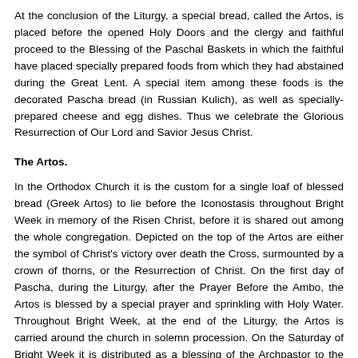At the conclusion of the Liturgy, a special bread, called the Artos, is placed before the opened Holy Doors and the clergy and faithful proceed to the Blessing of the Paschal Baskets in which the faithful have placed specially prepared foods from which they had abstained during the Great Lent. A special item among these foods is the decorated Pascha bread (in Russian Kulich), as well as specially-prepared cheese and egg dishes. Thus we celebrate the Glorious Resurrection of Our Lord and Savior Jesus Christ.
The Artos.
In the Orthodox Church it is the custom for a single loaf of blessed bread (Greek Artos) to lie before the Iconostasis throughout Bright Week in memory of the Risen Christ, before it is shared out among the whole congregation. Depicted on the top of the Artos are either the symbol of Christ's victory over death the Cross, surmounted by a crown of thorns, or the Resurrection of Christ. On the first day of Pascha, during the Liturgy, after the Prayer Before the Ambo, the Artos is blessed by a special prayer and sprinkling with Holy Water. Throughout Bright Week, at the end of the Liturgy, the Artos is carried around the church in solemn procession. On the Saturday of Bright Week it is distributed as a blessing of the Archpastor to the congregation (sometimes after Sunday Liturgy on St. Thomas Sunday).
The significance of the Artos is that it serves to remind all Christians of the